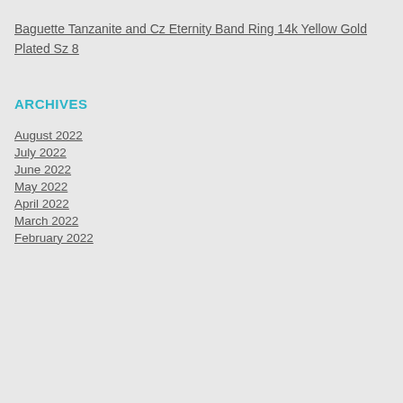Baguette Tanzanite and Cz Eternity Band Ring 14k Yellow Gold Plated Sz 8
ARCHIVES
August 2022
July 2022
June 2022
May 2022
April 2022
March 2022
February 2022